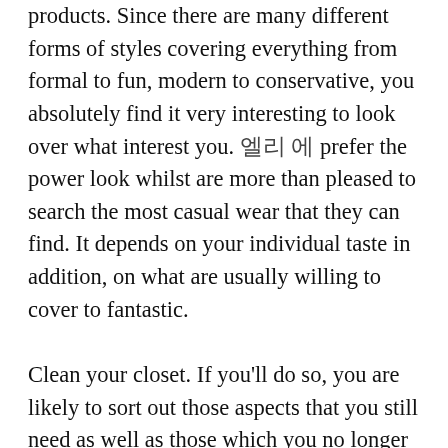products. Since there are many different forms of styles covering everything from formal to fun, modern to conservative, you absolutely find it very interesting to look over what interest you. [korean text] prefer the power look whilst are more than pleased to search the most casual wear that they can find. It depends on your individual taste in addition, on what are usually willing to cover to fantastic.

Clean your closet. If you'll do so, you are likely to sort out those aspects that you still need as well as those which you no longer require. You can even gain profit if you sell them through yard sale. It is a perfect subtle business best places to generate money to compensate credit card bills. If you're going to look at the shopping mall, make sure to have a directory of the problems that you are equally to buy. Weigh things before you buy them. Ask yourself if there is a